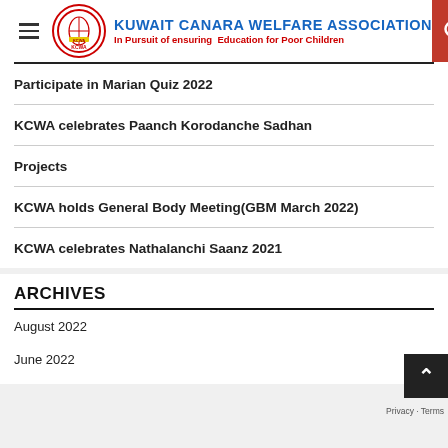KUWAIT CANARA WELFARE ASSOCIATION — In Pursuit of ensuring Education for Poor Children
Participate in Marian Quiz 2022
KCWA celebrates Paanch Korodanche Sadhan
Projects
KCWA holds General Body Meeting(GBM March 2022)
KCWA celebrates Nathalanchi Saanz 2021
ARCHIVES
August 2022
June 2022